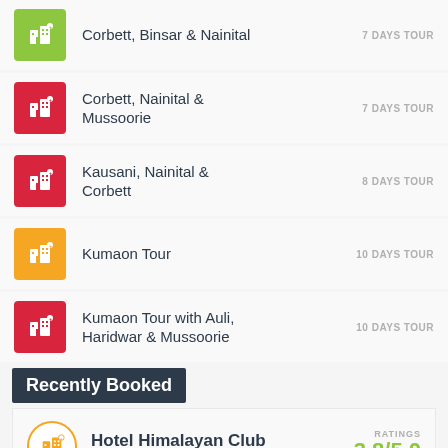Corbett, Binsar & Nainital 7 DAYS TOUR
Corbett, Nainital & Mussoorie 7 DAYS TOUR
Kausani, Nainital & Corbett 8 DAYS TOUR
Kumaon Tour 10 DAYS TOUR
Kumaon Tour with Auli, Haridwar & Mussoorie 10 DAYS TOUR
Recently Booked
Hotel Himalayan Club MUSSOORIE RATINGS 3.8/5.0